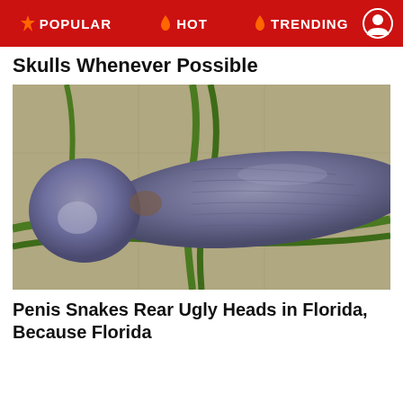POPULAR | HOT | TRENDING
Skulls Whenever Possible
[Figure (photo): Close-up photograph of a caecilian (penis snake), a limbless amphibian, lying on a tiled surface with green grass/plant leaves beneath it. The animal is dark grey-purple, smooth-skinned, with a rounded bulbous head.]
Penis Snakes Rear Ugly Heads in Florida, Because Florida